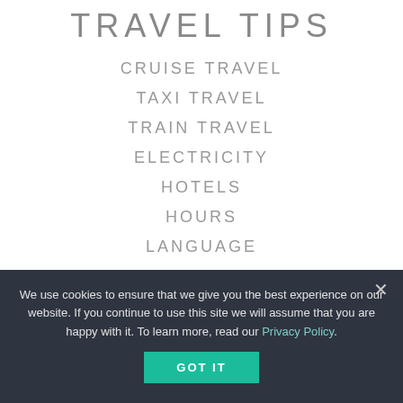TRAVEL TIPS
CRUISE TRAVEL
TAXI TRAVEL
TRAIN TRAVEL
ELECTRICITY
HOTELS
HOURS
LANGUAGE
CURRENCY
We use cookies to ensure that we give you the best experience on our website. If you continue to use this site we will assume that you are happy with it. To learn more, read our Privacy Policy.
GOT IT